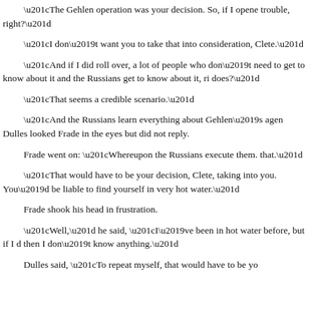“The Gehlen operation was your decision. So, if I opened trouble, right?”
“I don’t want you to take that into consideration, Clete.”
“And if I did roll over, a lot of people who don’t need to get to know about it and the Russians get to know about it, ri does?”
“That seems a credible scenario.”
“And the Russians learn everything about Gehlen’s agen Dulles looked Frade in the eyes but did not reply.
Frade went on: “Whereupon the Russians execute them. that.”
“That would have to be your decision, Clete, taking into you. You’d be liable to find yourself in very hot water.”
Frade shook his head in frustration.
“Well,” he said, “I’ve been in hot water before, but if I d then I don’t know anything.”
Dulles said, “To repeat myself, that would have to be yo